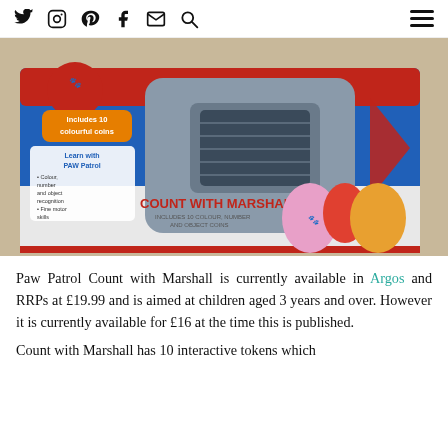Social media icons: Twitter, Instagram, Pinterest, Facebook, Email, Search, Hamburger menu
[Figure (photo): Close-up photo of the Paw Patrol Count with Marshall toy box showing the product packaging with characters Skye, Marshall, and Rubble, text 'COUNT WITH MARSHALL' and 'INCLUDES 10 COLOUR, NUMBER AND OBJECT COINS', 'Learn with PAW Patrol' bullet list, and 'Includes 10 colourful coins' badge.]
Paw Patrol Count with Marshall is currently available in Argos and RRPs at £19.99 and is aimed at children aged 3 years and over. However it is currently available for £16 at the time this is published.
Count with Marshall has 10 interactive tokens which...